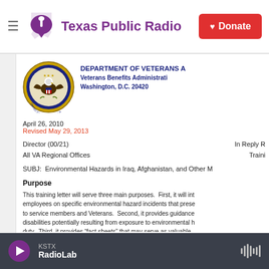Texas Public Radio | Donate
[Figure (logo): Department of Veterans Affairs seal — eagle with shield on circular gold/blue border]
DEPARTMENT OF VETERANS A[FFAIRS]
Veterans Benefits Administrati[on]
Washington, D.C.  20420
April 26, 2010
Revised May 29, 2013
Director (00/21)
All VA Regional Offices
In Reply R[efer To]
Traini[ng Letter]
SUBJ:  Environmental Hazards in Iraq, Afghanistan, and Other M[ilitary Theaters]
Purpose
This training letter will serve three main purposes.  First, it will int[orm] employees on specific environmental hazard incidents that prese[nted] to service members and Veterans.  Second, it provides guidance [on] disabilities potentially resulting from exposure to environmental h[azards on] duty.  Third, it provides "fact sheets" that may serve as valuable [aids for] examiners when they conduct Compensation and Pension (C&P [exams] associated with such exposure.  The information and guideline[s...]
KSTX
RadioLab